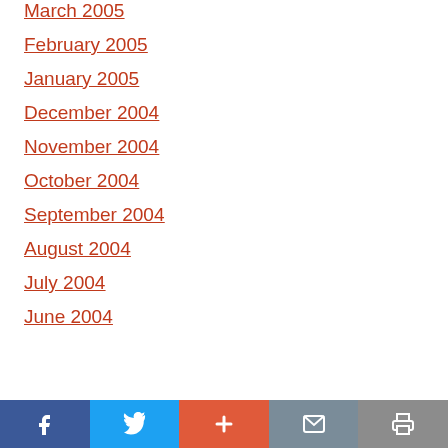March 2005
February 2005
January 2005
December 2004
November 2004
October 2004
September 2004
August 2004
July 2004
June 2004